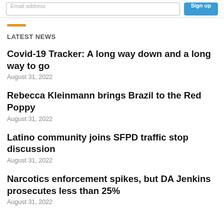Email address | Sign up
LATEST NEWS
Covid-19 Tracker: A long way down and a long way to go
August 31, 2022
Rebecca Kleinmann brings Brazil to the Red Poppy
August 31, 2022
Latino community joins SFPD traffic stop discussion
August 31, 2022
Narcotics enforcement spikes, but DA Jenkins prosecutes less than 25%
August 31, 2022